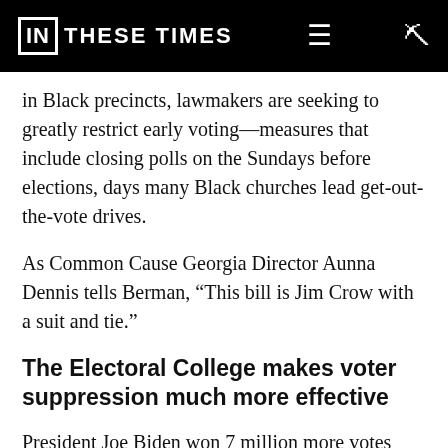IN THESE TIMES
in Black precincts, lawmakers are seeking to greatly restrict early voting—measures that include closing polls on the Sundays before elections, days many Black churches lead get-out-the-vote drives.
As Common Cause Georgia Director Aunna Dennis tells Berman, “This bill is Jim Crow with a suit and tie.”
The Electoral College makes voter suppression much more effective
President Joe Biden won 7 million more votes than Trump in 2020, but Biden’s real margin of victory was much, much narrower. Why? Because the